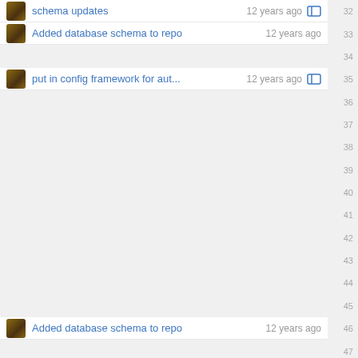schema updates  12 years ago  32
Added database schema to repo  12 years ago  33
put in config framework for aut...  12 years ago  35
Added database schema to repo  12 years ago  46